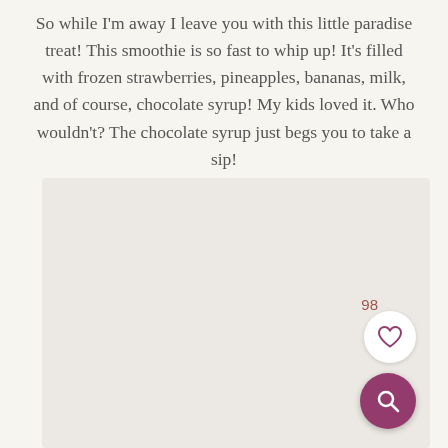So while I'm away I leave you with this little paradise treat!  This smoothie is so fast to whip up!  It's filled with frozen strawberries, pineapples, bananas, milk, and of course, chocolate syrup!  My kids loved it.  Who wouldn't?  The chocolate syrup just begs you to take a sip!
[Figure (photo): A large image placeholder area (light gray/beige background) below the text block, with a heart/favorite button showing count 98 and a circular search/magnify button in the bottom-right corner.]